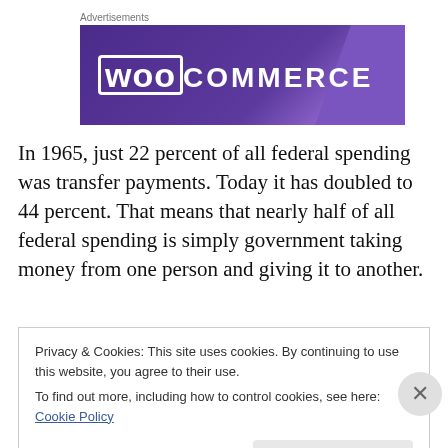[Figure (other): WooCommerce advertisement banner with purple gradient background and white logo text]
In 1965, just 22 percent of all federal spending was transfer payments. Today it has doubled to 44 percent. That means that nearly half of all federal spending is simply government taking money from one person and giving it to another.
Privacy & Cookies: This site uses cookies. By continuing to use this website, you agree to their use.
To find out more, including how to control cookies, see here: Cookie Policy
Close and accept